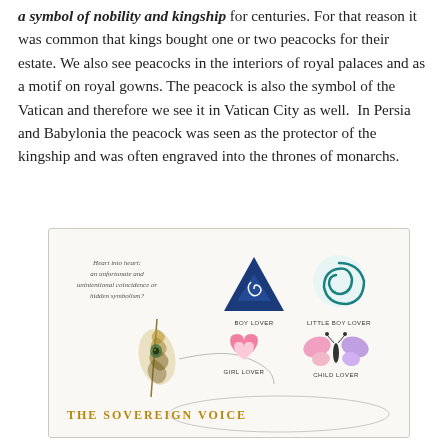a symbol of nobility and kingship for centuries. For that reason it was common that kings bought one or two peacocks for their estate. We also see peacocks in the interiors of royal palaces and as a motif on royal gowns. The peacock is also the symbol of the Vatican and therefore we see it in Vatican City as well.  In Persia and Babylonia the peacock was seen as the protector of the kingship and was often engraved into the thrones of monarchs.
[Figure (infographic): Infographic from 'The Sovereign Voice' showing peacock feather symbol alongside symbols labeled Boy Lover (blue triangle), Little Boy Lover (blue spiral), Girl Lover (pink heart), Child Lover (butterfly). Text reads: 'Heart into heart: an unfortunate and unintentional coincidence or hidden symbolism?' with THE SOVEREIGN VOICE branding at bottom.]